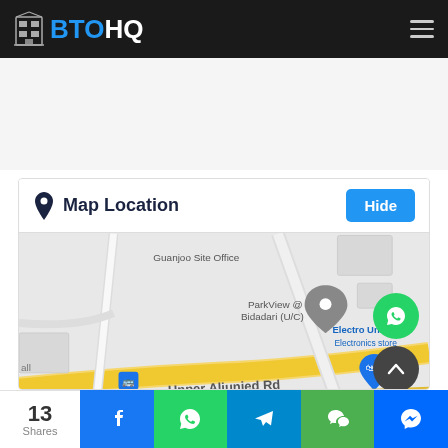BTOHQ
Map Location
[Figure (map): Google Maps screenshot showing ParkView @ Bidadari (U/C) location marker, Electro Unify Electronics store, Upper Aljunied Rd label, Guanjoo Site Office label, and a bus stop icon on a road map]
13 Shares | Facebook | WhatsApp | Telegram | WeChat | Messenger